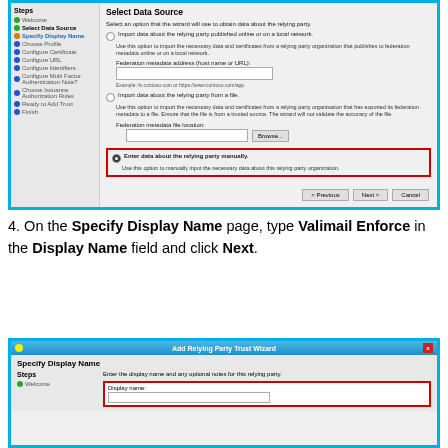[Figure (screenshot): Windows wizard dialog 'Select Data Source' with left navigation steps and right panel showing radio button options for importing relying party data. The third option 'Enter data about the relying party manually' is selected and highlighted with a red box.]
4. On the Specify Display Name page, type Valimail Enforce in the Display Name field and click Next.
[Figure (screenshot): Windows wizard dialog 'Add Relying Party Trust Wizard' showing the 'Specify Display Name' page. The Display Name field is highlighted with a red box.]